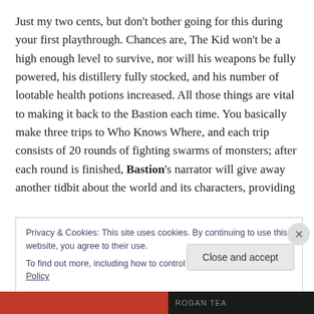Just my two cents, but don't bother going for this during your first playthrough. Chances are, The Kid won't be a high enough level to survive, nor will his weapons be fully powered, his distillery fully stocked, and his number of lootable health potions increased. All those things are vital to making it back to the Bastion each time. You basically make three trips to Who Knows Where, and each trip consists of 20 rounds of fighting swarms of monsters; after each round is finished, Bastion's narrator will give away another tidbit about the world and its characters, providing
Privacy & Cookies: This site uses cookies. By continuing to use this website, you agree to their use.
To find out more, including how to control cookies, see here: Cookie Policy
Close and accept